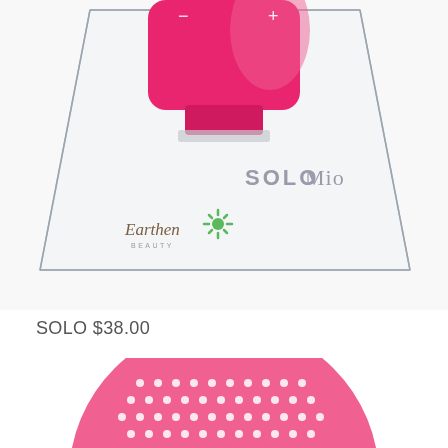[Figure (photo): SOLO Mio beauty device in a pink color inside a clear/transparent display box. The box shows the brand name 'SOLO Mio' on the front and an 'Earthen Beauty' logo with a green sunflower-like icon in the lower left area of the box.]
SOLO $38.00
[Figure (photo): Close-up view of the bottom of the SOLO Mio device showing a pink circular silicone head with white dots/bumps arranged in a pattern.]